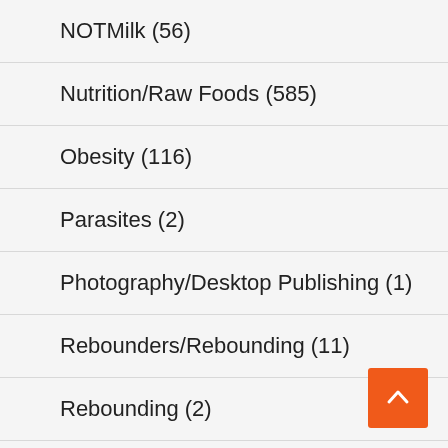NOTMilk (56)
Nutrition/Raw Foods (585)
Obesity (116)
Parasites (2)
Photography/Desktop Publishing (1)
Rebounders/Rebounding (11)
Rebounding (2)
Recipes (156)
Renu 28 (1)
Raw Diversity Detox U.S. (partial)